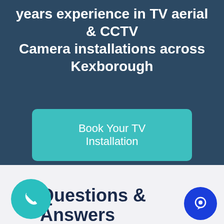That will impress you with over 25 years experience in TV aerial & CCTV Camera installations across Kexborough
Book Your TV Installation
Questions & Answers